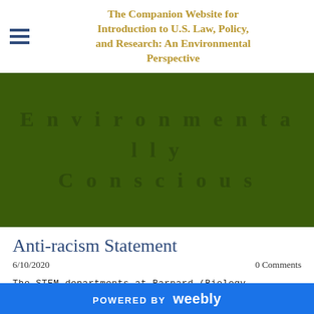The Companion Website for Introduction to U.S. Law, Policy, and Research: An Environmental Perspective
[Figure (other): Dark green banner with large spaced text reading 'Environmentally Conscious']
Anti-racism Statement
6/10/2020
0 Comments
The STEM departments at Barnard (Biology, Chemistry, Computer
POWERED BY weebly